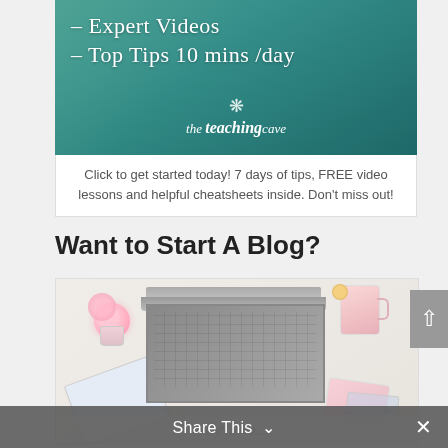[Figure (illustration): The Teaching Cave promotional banner with teal ocean/water background showing text '- Expert Videos' and '- Top Tips 10 mins /day' with a shell logo and 'the teaching cave' branding]
Click to get started today! 7 days of tips, FREE video lessons and helpful cheatsheets inside. Don't miss out!
Want to Start A Blog?
[Figure (photo): Photo of a styled desk with a MacBook laptop, pink flowers in a vase, pink mug, notebooks and accessories on a white surface]
Share This